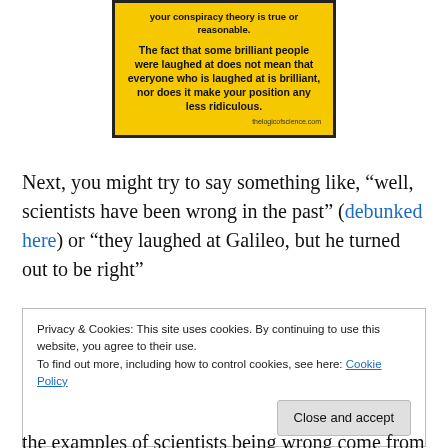[Figure (infographic): Yellow box with bold black text: 'your conspiracy theory is true or reasonable. The fact that some brilliant people were laughed at does not mean that everyone who is laughed at is brilliant, nor does it make your position any less ridiculous.' with 'thelogicofscience.com' credit at bottom right.]
Next, you might try to say something like, “well, scientists have been wrong in the past” (debunked here) or “they laughed at Galileo, but he turned out to be right”
Privacy & Cookies: This site uses cookies. By continuing to use this website, you agree to their use. To find out more, including how to control cookies, see here: Cookie Policy
the examples of scientists being wrong come from well